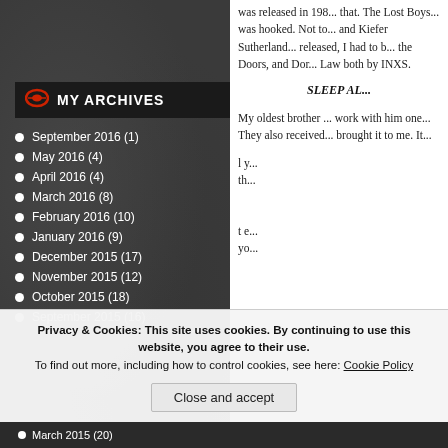was released in 198... that. The Lost Boys... was hooked. Not to... and Kiefer Sutherland... released, I had to b... the Doors, and Don... Law both by INXS.
SLEEP AL...
My oldest brother ... work with him one... They also received... brought it to me. It...
MY ARCHIVES
September 2016 (1)
May 2016 (4)
April 2016 (4)
March 2016 (8)
February 2016 (10)
January 2016 (9)
December 2015 (17)
November 2015 (12)
October 2015 (18)
September 2015 (16)
Privacy & Cookies: This site uses cookies. By continuing to use this website, you agree to their use. To find out more, including how to control cookies, see here: Cookie Policy
March 2015 (20)